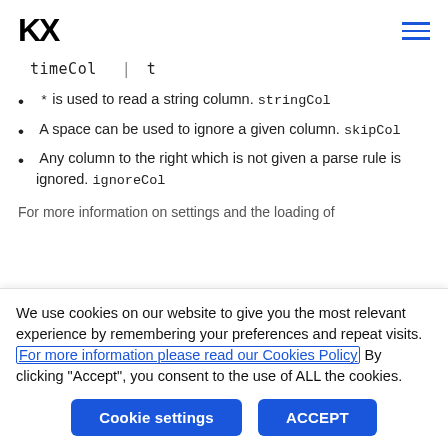KX
timeCol | t
* is used to read a string column. stringCol
A space can be used to ignore a given column. skipCol
Any column to the right which is not given a parse rule is ignored. ignoreCol
For more information on settings and the loading of
We use cookies on our website to give you the most relevant experience by remembering your preferences and repeat visits. For more information please read our Cookies Policy By clicking "Accept", you consent to the use of ALL the cookies.